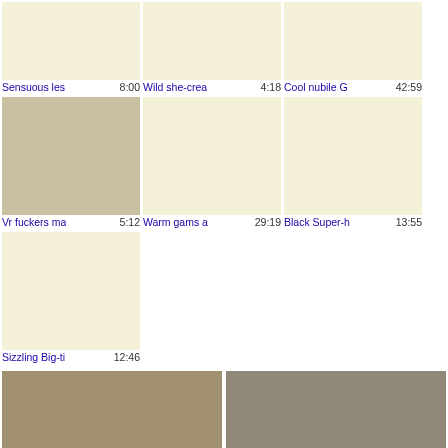[Figure (screenshot): Video thumbnail grid row 1: Sensuous les 8:00, Wild she-crea 4:18, Cool nubile G 42:59]
[Figure (screenshot): Video thumbnail grid row 2: Vr fuckers ma 5:12, Warm gams a 29:19, Black Super-h 13:55]
[Figure (screenshot): Video thumbnail grid row 3: Sizzling Big-ti 12:46]
[Figure (photo): Large photo of blonde woman]
[Figure (photo): Large photo of dark-haired woman with man]